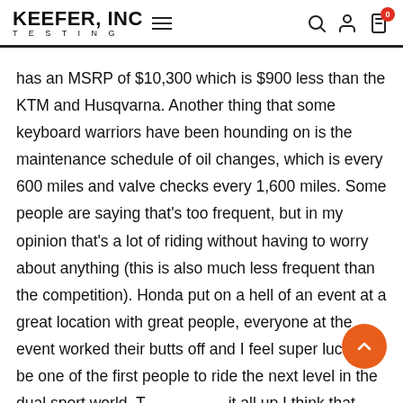KEEFER, INC TESTING
has an MSRP of $10,300 which is $900 less than the KTM and Husqvarna. Another thing that some keyboard warriors have been hounding on is the maintenance schedule of oil changes, which is every 600 miles and valve checks every 1,600 miles. Some people are saying that's too frequent, but in my opinion that's a lot of riding without having to worry about anything (this is also much less frequent than the competition). Honda put on a hell of an event at a great location with great people, everyone at the event worked their butts off and I feel super lucky to be one of the first people to ride the next level in the dual sport world. T it all up I think that Honda did all they could do, "legally" to make the best street legal dirt bike that is still a pleasure to ride on the street. Is it still corked up? Yes. Does it have more